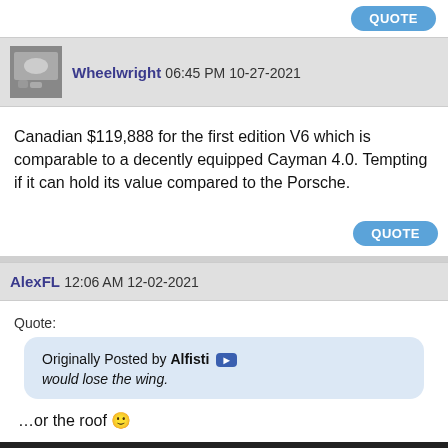QUOTE (button)
Wheelwright 06:45 PM 10-27-2021
Canadian $119,888 for the first edition V6 which is comparable to a decently equipped Cayman 4.0. Tempting if it can hold its value compared to the Porsche.
QUOTE (button)
AlexFL 12:06 AM 12-02-2021
Quote: Originally Posted by Alfisti [arrow] would lose the wing.
…or the roof 🙂